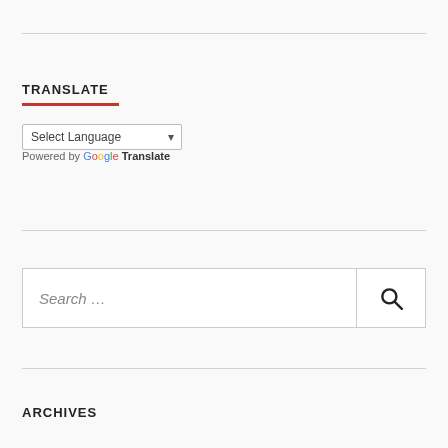TRANSLATE
Select Language
Powered by Google Translate
[Figure (other): Search box with text field showing 'Search ...' placeholder and a search icon button on the right]
ARCHIVES